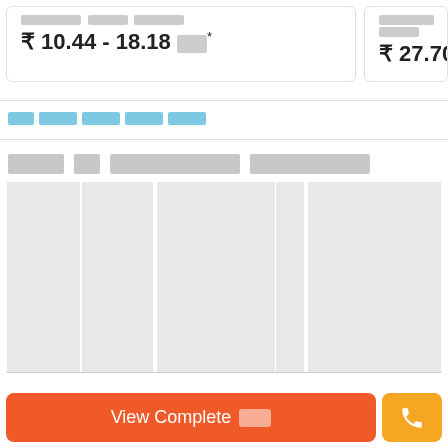₹ 10.44 - 18.18 [text]*
₹ 27.70 - 34.5[text]
[link text placeholder]
[Section header placeholder text]
[Figure (other): Three gray placeholder chart columns representing a bar chart or data visualization, not fully rendered]
View Complete [text]